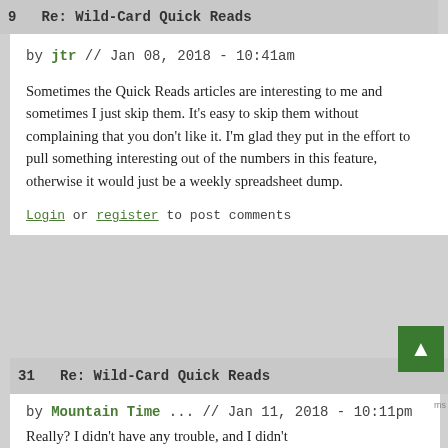9   Re: Wild-Card Quick Reads
by jtr // Jan 08, 2018 - 10:41am
Sometimes the Quick Reads articles are interesting to me and sometimes I just skip them. It's easy to skip them without complaining that you don't like it. I'm glad they put in the effort to pull something interesting out of the numbers in this feature, otherwise it would just be a weekly spreadsheet dump.
Login or register to post comments
31   Re: Wild-Card Quick Reads
by Mountain Time ... // Jan 11, 2018 - 10:11pm
Really? I didn't have any trouble, and I didn't